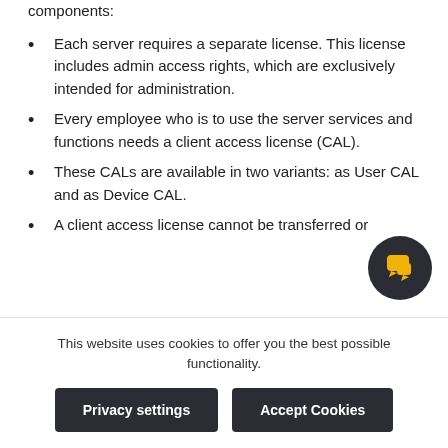components:
Each server requires a separate license. This license includes admin access rights, which are exclusively intended for administration.
Every employee who is to use the server services and functions needs a client access license (CAL).
These CALs are available in two variants: as User CAL and as Device CAL.
A client access license cannot be transferred or
This website uses cookies to offer you the best possible functionality.
Privacy settings
Accept Cookies